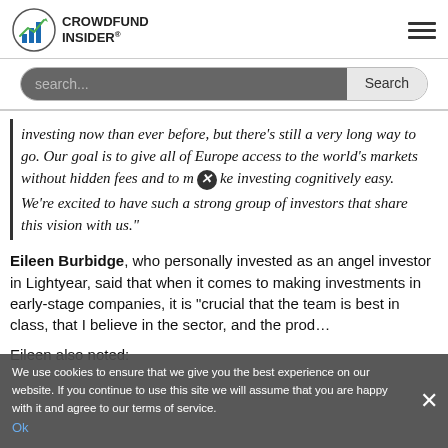CROWDFUND INSIDER
search...
investing now than ever before, but there’s still a very long way to go. Our goal is to give all of Europe access to the world’s markets without hidden fees and to make investing cognitively easy. We’re excited to have such a strong group of investors that share this vision with us.”
Eileen Burbidge, who personally invested as an angel investor in Lightyear, said that when it comes to making investments in early-stage companies, it is “crucial that the team is best in class, that I believe in the sector, and the product…
Eileen also noted:
We use cookies to ensure that we give you the best experience on our website. If you continue to use this site we will assume that you are happy with it and agree to our terms of service.